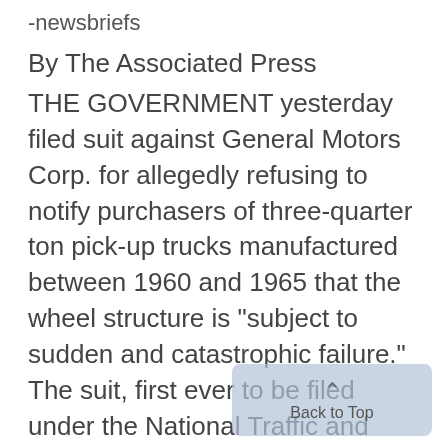-newsbriefs
By The Associated Press
THE GOVERNMENT yesterday filed suit against General Motors Corp. for allegedly refusing to notify purchasers of three-quarter ton pick-up trucks manufactured between 1960 and 1965 that the wheel structure is "subject to sudden and catastrophic failure." The suit, first ever to be filed under the National Traffic and Motor Vehicle Safety Act of 1966, seeks a